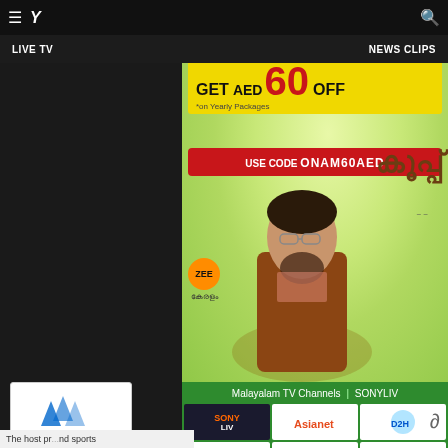☰  Y  🔍
LIVE TV   NEWS CLIPS
[Figure (screenshot): Promotional advertisement banner for Onam Special Offer. Shows 'Offers your favourite South Asian TV Channels' at top. Contains red box with 'ONAM Special Offer', yellow box with 'GET AED 60 OFF *on Yearly Packages', red box with 'USE CODE ONAM60AED'. Lower half shows a man in brown jacket, ZEE Kerala logo, and Malayalam text. Background is light green/yellow gradient.]
Malayalam TV Channels | SONYLIV
[Figure (screenshot): Grid of Malayalam TV channel logos: Sony LIV, Asianet, D2H, and others including what appears to be a news channel and Surya TV]
The host pr... nd sports